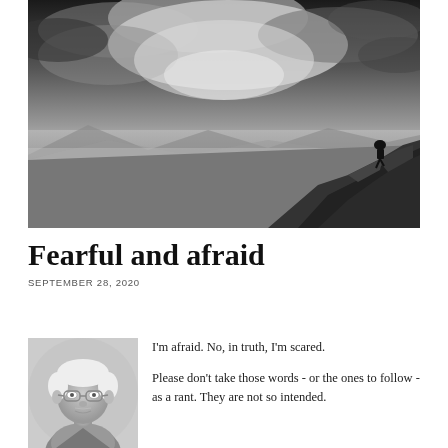[Figure (photo): Black and white landscape photograph of a person sitting on rocky cliffs at a mountain summit, with dramatic cloudy sky and expansive valley view below]
Fearful and afraid
SEPTEMBER 28, 2020
[Figure (photo): Black and white portrait photo of an elderly man with white hair wearing glasses]
I'm afraid. No, in truth, I'm scared.

Please don't take those words - or the ones to follow - as a rant. They are not so intended.